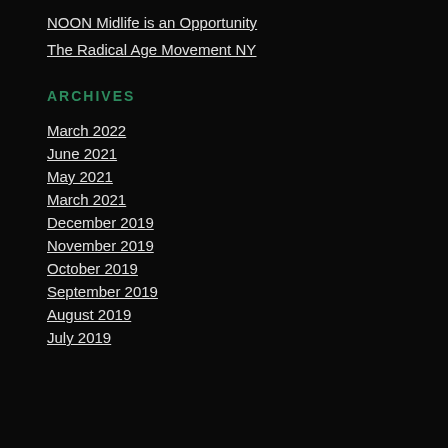NOON Midlife is an Opportunity
The Radical Age Movement NY
ARCHIVES
March 2022
June 2021
May 2021
March 2021
December 2019
November 2019
October 2019
September 2019
August 2019
July 2019